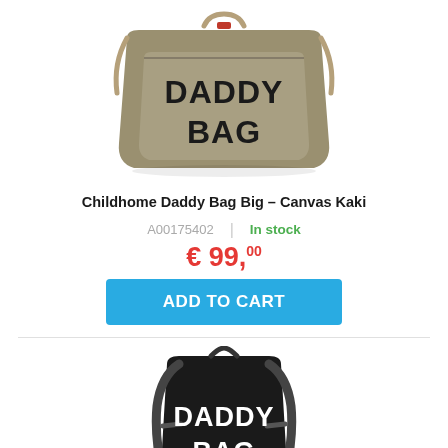[Figure (photo): Khaki canvas Daddy Bag Big — large tote/duffel bag with 'DADDY BAG' printed in bold black letters on the front, photographed from the front on white background.]
Childhome Daddy Bag Big – Canvas Kaki
A00175402  |  In stock
€ 99,00
ADD TO CART
[Figure (photo): Black backpack-style Daddy Bag with 'DADDY BAG' printed in white letters on the front, photographed from the back showing backpack straps, on white background.]